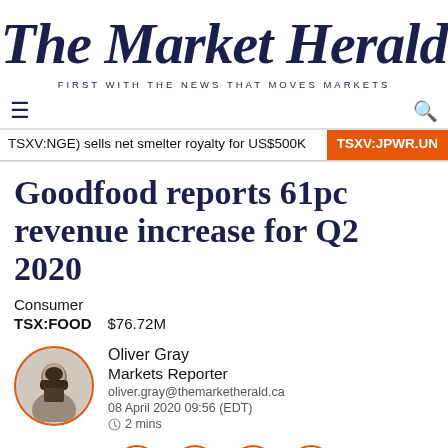The Market Herald
FIRST WITH THE NEWS THAT MOVES MARKETS
TSXV:NGE) sells net smelter royalty for US$500K   TSXV:JPWR.UN
Goodfood reports 61pc revenue increase for Q2 2020
Consumer
TSX:FOOD   $76.72M
Oliver Gray
Markets Reporter
oliver.gray@themarketherald.ca
08 April 2020 09:56 (EDT)
2 mins
Social share buttons: Facebook, Twitter, LinkedIn, Email